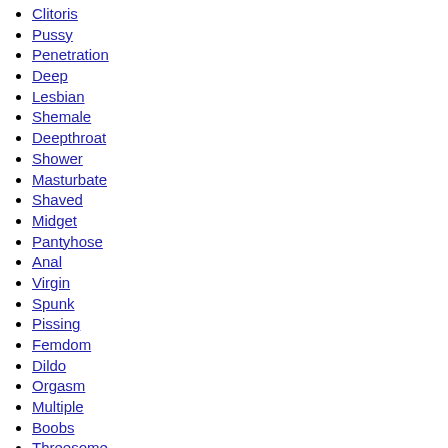Clitoris
Pussy
Penetration
Deep
Lesbian
Shemale
Deepthroat
Shower
Masturbate
Shaved
Midget
Pantyhose
Anal
Virgin
Spunk
Pissing
Femdom
Dildo
Orgasm
Multiple
Boobs
Threesome
Spank
Mature
Orgy